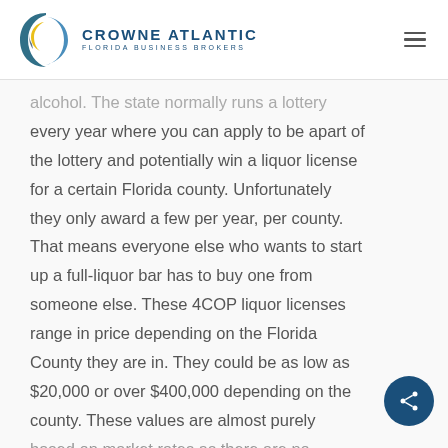CROWNE ATLANTIC FLORIDA BUSINESS BROKERS
alcohol. The state normally runs a lottery every year where you can apply to be apart of the lottery and potentially win a liquor license for a certain Florida county. Unfortunately they only award a few per year, per county. That means everyone else who wants to start up a full-liquor bar has to buy one from someone else. These 4COP liquor licenses range in price depending on the Florida County they are in. They could be as low as $20,000 or over $400,000 depending on the county. These values are almost purely based on market rates as there are no